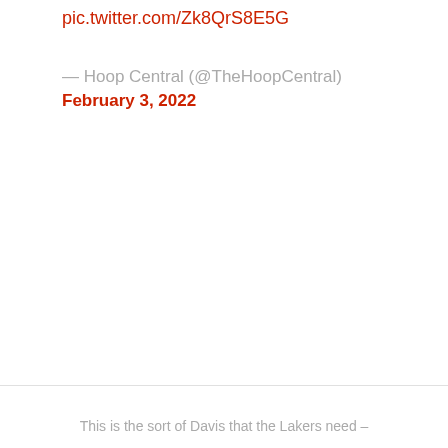pic.twitter.com/Zk8QrS8E5G
— Hoop Central (@TheHoopCentral)
February 3, 2022
This is the sort of Davis that the Lakers need –